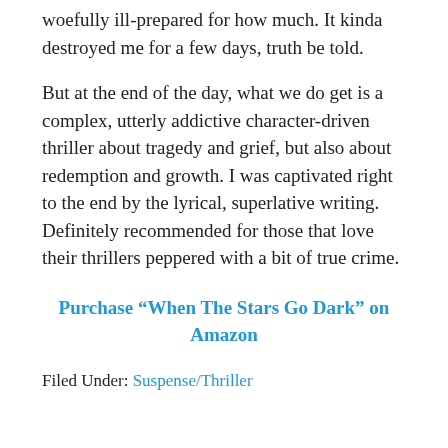woefully ill-prepared for how much. It kinda destroyed me for a few days, truth be told.
But at the end of the day, what we do get is a complex, utterly addictive character-driven thriller about tragedy and grief, but also about redemption and growth. I was captivated right to the end by the lyrical, superlative writing. Definitely recommended for those that love their thrillers peppered with a bit of true crime.
Purchase “When The Stars Go Dark” on Amazon
Filed Under: Suspense/Thriller